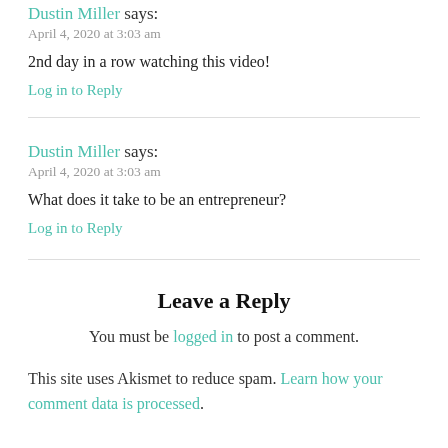Dustin Miller says:
April 4, 2020 at 3:03 am
2nd day in a row watching this video!
Log in to Reply
Dustin Miller says:
April 4, 2020 at 3:03 am
What does it take to be an entrepreneur?
Log in to Reply
Leave a Reply
You must be logged in to post a comment.
This site uses Akismet to reduce spam. Learn how your comment data is processed.